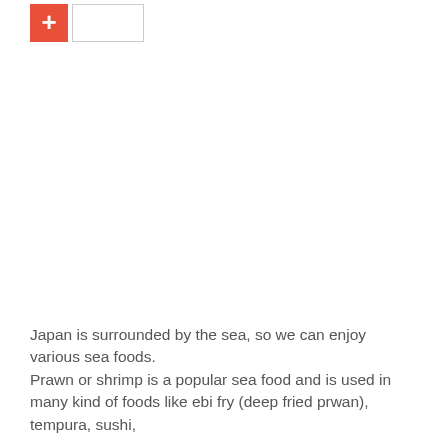[Figure (other): A red/coral square button with a white plus (+) symbol, followed by a small rectangular tab/box outline to its right, forming a UI control element.]
Japan is surrounded by the sea, so we can enjoy various sea foods.
Prawn or shrimp is a popular sea food and is used in many kind of foods like ebi fry (deep fried prwan), tempura, sushi,